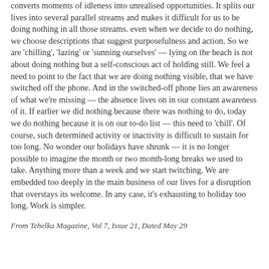converts moments of idleness into unrealised opportunities. It splits our lives into several parallel streams and makes it difficult for us to be doing nothing in all those streams. even when we decide to do nothing, we choose descriptions that suggest purposefulness and action. So we are 'chilling', 'lazing' or 'sunning ourselves' — lying on the beach is not about doing nothing but a self-conscious act of holding still. We feel a need to point to the fact that we are doing nothing visible, that we have switched off the phone. And in the switched-off phone lies an awareness of what we're missing — the absence lives on in our constant awareness of it. If earlier we did nothing because there was nothing to do, today we do nothing because it is on our to-do list — this need to 'chill'. Of course, such determined activity or inactivity is difficult to sustain for too long. No wonder our holidays have shrunk — it is no longer possible to imagine the month or two month-long breaks we used to take. Anything more than a week and we start twitching. We are embedded too deeply in the main business of our lives for a disruption that overstays its welcome. In any case, it's exhausting to holiday too long. Work is simpler.
From Tehelka Magazine, Vol 7, Issue 21, Dated May 29